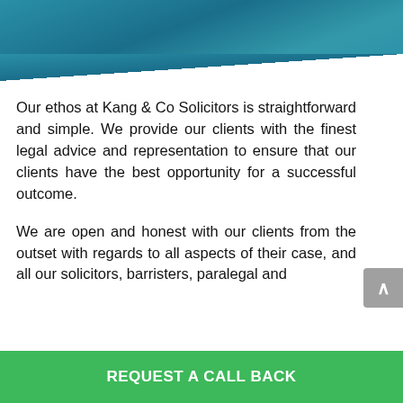[Figure (illustration): Teal/blue gradient header banner at the top of the page]
Our ethos at Kang & Co Solicitors is straightforward and simple. We provide our clients with the finest legal advice and representation to ensure that our clients have the best opportunity for a successful outcome.
We are open and honest with our clients from the outset with regards to all aspects of their case, and all our solicitors, barristers, paralegal and
REQUEST A CALL BACK